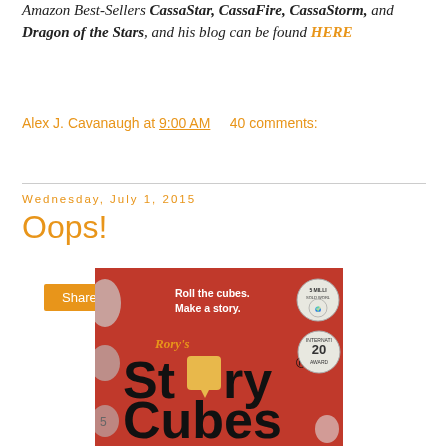Amazon Best-Sellers CassaStar, CassaFire, CassaStorm, and Dragon of the Stars, and his blog can be found HERE
Alex J. Cavanaugh at 9:00 AM   40 comments:
Share
Wednesday, July 1, 2015
Oops!
[Figure (photo): Photo of Rory's Story Cubes box, red background, showing 'Roll the cubes. Make a story.' text and story cubes branding with awards badges]